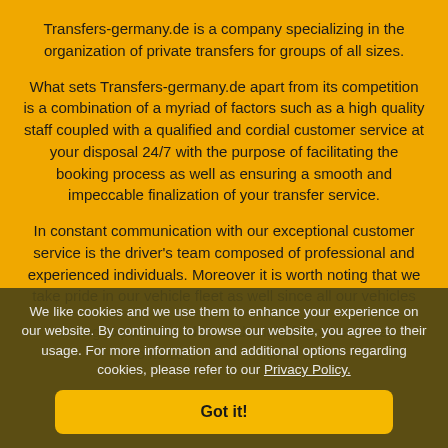Transfers-germany.de is a company specializing in the organization of private transfers for groups of all sizes.
What sets Transfers-germany.de apart from its competition is a combination of a myriad of factors such as a high quality staff coupled with a qualified and cordial customer service at your disposal 24/7 with the purpose of facilitating the booking process as well as ensuring a smooth and impeccable finalization of your transfer service.
In constant communication with our exceptional customer service is the driver's team composed of professional and experienced individuals. Moreover it is worth noting that we take pride in our vehicle fleet as well since all our vehicles
driving experience whic... do right from the outset to its co... colors at
We like cookies and we use them to enhance your experience on our website. By continuing to browse our website, you agree to their usage. For more information and additional options regarding cookies, please refer to our Privacy Policy.
Got it!